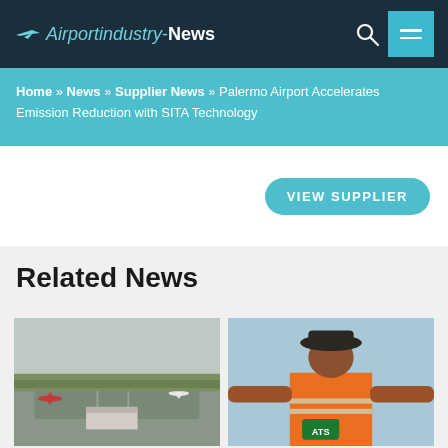Airportindustry-News
Home » News » Supplier News » Palermo Airport Accelerates Emission Reduction with SITA Technology
VIEW SUPPLIER
Related News
[Figure (photo): Aerial view of an airport tarmac with planes and terminal buildings]
[Figure (photo): Ground crew worker in orange safety vest and wide-brim hat with arms outstretched, seen from behind]